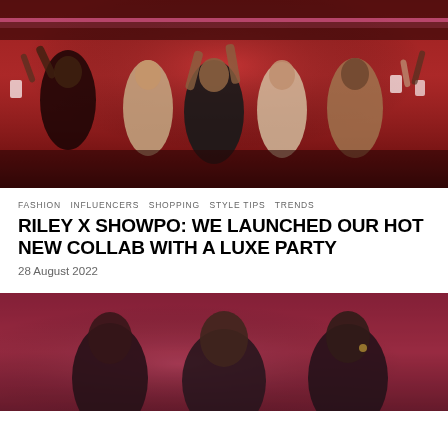[Figure (photo): Party scene with women in elegant dresses dancing and celebrating in a red-lit venue, with guests holding phones in the background]
FASHION  INFLUENCERS  SHOPPING  STYLE TIPS  TRENDS
RILEY X SHOWPO: WE LAUNCHED OUR HOT NEW COLLAB WITH A LUXE PARTY
28 August 2022
[Figure (photo): Three women posing together against a pink/red textured wall background]